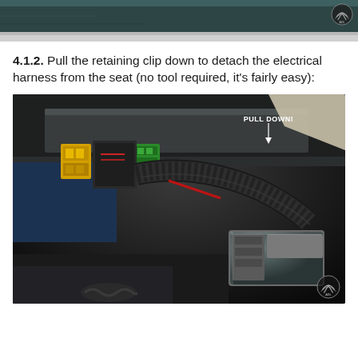[Figure (photo): Top portion of a previous photo showing a car seat undercarriage area with teal/dark green upholstery and carpet visible]
4.1.2. Pull the retaining clip down to detach the electrical harness from the seat (no tool required, it's fairly easy):
[Figure (photo): Under-seat photo showing electrical connectors (yellow and green square connectors) attached to the seat frame, with a large black wiring harness and a grey/silver connector in the foreground. An annotation reads 'PULL DOWN!' with an arrow pointing to the green connector/retaining clip area.]